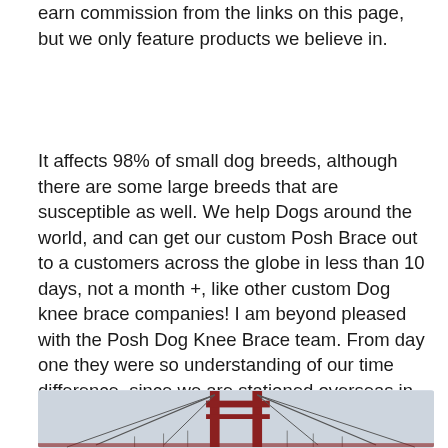earn commission from the links on this page, but we only feature products we believe in.
It affects 98% of small dog breeds, although there are some large breeds that are susceptible as well. We help Dogs around the world, and can get our custom Posh Brace out to a customers across the globe in less than 10 days, not a month +, like other custom Dog knee brace companies! I am beyond pleased with the Posh Dog Knee Brace team. From day one they were so understanding of our time difference, since we are stationed overseas in Japan.
[Figure (photo): Partial view of a red suspension bridge (resembling the Golden Gate Bridge) against a light grey sky, showing the tower and cables.]